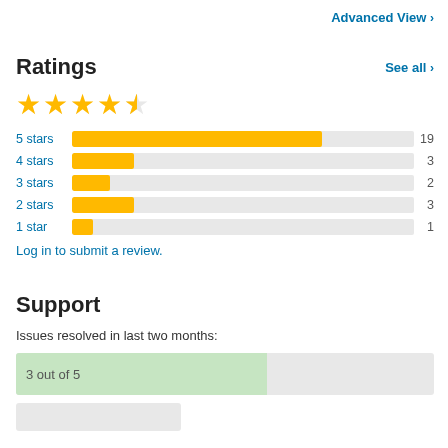Advanced View >
Ratings
See all >
[Figure (other): 4.5 out of 5 stars rating display with 4 full gold stars and 1 half star]
[Figure (bar-chart): Star ratings distribution]
Log in to submit a review.
Support
Issues resolved in last two months:
[Figure (bar-chart): Issues resolved]